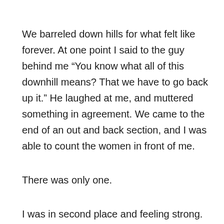We barreled down hills for what felt like forever.  At one point I said to the guy behind me “You know what all of this downhill means? That we have to go back up it.”  He laughed at me, and muttered something in agreement.  We came to the end of an out and back section, and I was able to count the women in front of me.
There was only one.
I was in second place and feeling strong.  But it would turn out that the out and back on a single track trail at a race where most people aren’t familiar